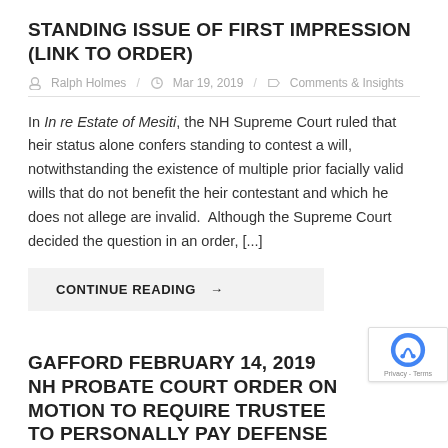STANDING ISSUE OF FIRST IMPRESSION (LINK TO ORDER)
Ralph Holmes / Mar 19, 2019 / Comments & Insights
In In re Estate of Mesiti, the NH Supreme Court ruled that heir status alone confers standing to contest a will, notwithstanding the existence of multiple prior facially valid wills that do not benefit the heir contestant and which he does not allege are invalid. Although the Supreme Court decided the question in an order, [...]
CONTINUE READING →
GAFFORD FEBRUARY 14, 2019 NH PROBATE COURT ORDER ON MOTION TO REQUIRE TRUSTEE TO PERSONALLY PAY DEFENSE COSTS